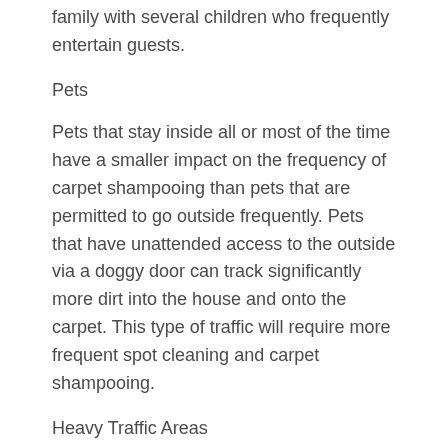family with several children who frequently entertain guests.
Pets
Pets that stay inside all or most of the time have a smaller impact on the frequency of carpet shampooing than pets that are permitted to go outside frequently. Pets that have unattended access to the outside via a doggy door can track significantly more dirt into the house and onto the carpet. This type of traffic will require more frequent spot cleaning and carpet shampooing.
Heavy Traffic Areas
Most homes have an obvious traffic flow. Because people tend to walk the same path between rooms, these areas of the carpet will get soiled much more quickly than other areas. Some rooms in the home, such as the living room or entertainment room, will get more